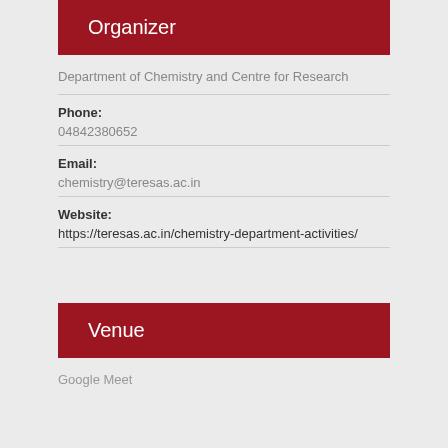Organizer
Department of Chemistry and Centre for Research
Phone: 04842380652
Email: chemistry@teresas.ac.in
Website: https://teresas.ac.in/chemistry-department-activities/
Venue
Google Meet